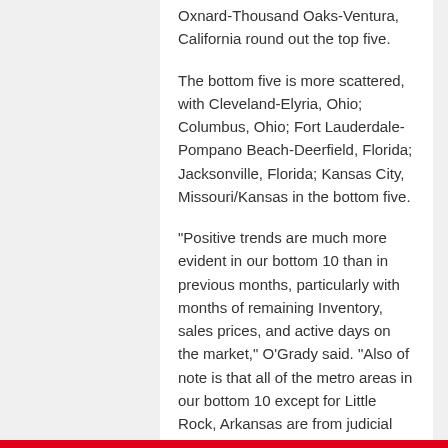Oxnard-Thousand Oaks-Ventura, California round out the top five.
The bottom five is more scattered, with Cleveland-Elyria, Ohio; Columbus, Ohio; Fort Lauderdale-Pompano Beach-Deerfield, Florida; Jacksonville, Florida; Kansas City, Missouri/Kansas in the bottom five.
"Positive trends are much more evident in our bottom 10 than in previous months, particularly with months of remaining Inventory, sales prices, and active days on the market," O'Grady said. "Also of note is that all of the metro areas in our bottom 10 except for Little Rock, Arkansas are from judicial states."
Tagged with: ARIZONA  EMPLOYMENT